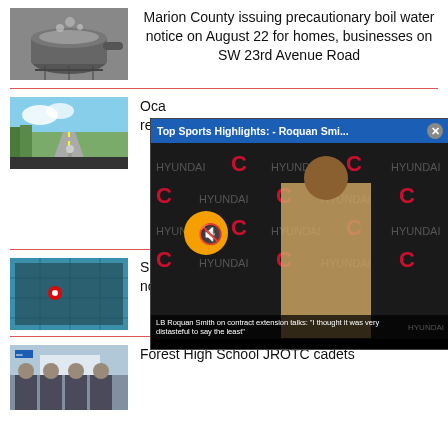[Figure (photo): Photo of a pot of boiling water on a stove]
Marion County issuing precautionary boil water notice on August 22 for homes, businesses on SW 23rd Avenue Road
[Figure (photo): Photo of a car dashboard view of a rural road with a person walking]
Oca... reco...
[Figure (screenshot): Video overlay: Top Sports Highlights: - Roquan Smi... with Chicago Bears press conference. LB Roquan Smith on contract extension talks: 'I thought it was very distasteful to say the least']
[Figure (photo): Map image with a red location marker]
Si... northbound lanes
[Figure (photo): Photo of Forest High School JROTC cadets]
Forest High School JROTC cadets